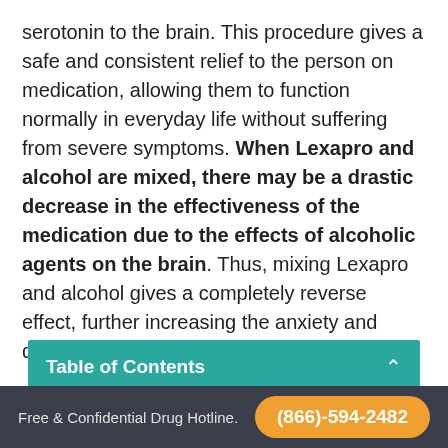serotonin to the brain. This procedure gives a safe and consistent relief to the person on medication, allowing them to function normally in everyday life without suffering from severe symptoms. When Lexapro and alcohol are mixed, there may be a drastic decrease in the effectiveness of the medication due to the effects of alcoholic agents on the brain. Thus, mixing Lexapro and alcohol gives a completely reverse effect, further increasing the anxiety and depressive levels.
Table of Contents
Possible Side Effects Of Taking...
Free & Confidential Drug Hotline.
(866)-594-2482